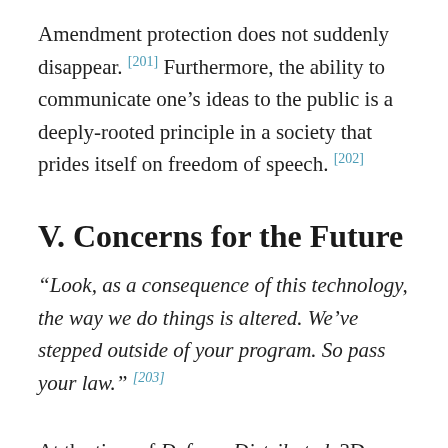Amendment protection does not suddenly disappear. [201] Furthermore, the ability to communicate one's ideas to the public is a deeply-rooted principle in a society that prides itself on freedom of speech. [202]
V. Concerns for the Future
“Look, as a consequence of this technology, the way we do things is altered. We’ve stepped outside of your program. So pass your law.” [203]
At the time of Defense Distributed, 3D-printed guns could frequently only withstand one bullet firing because the firearm would